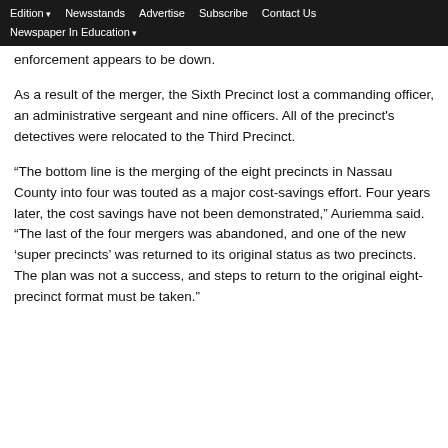Edition  Newsstands  Advertise  Subscribe  Contact Us  Newspaper In Education
enforcement appears to be down.
As a result of the merger, the Sixth Precinct lost a commanding officer, an administrative sergeant and nine officers. All of the precinct's detectives were relocated to the Third Precinct.
“The bottom line is the merging of the eight precincts in Nassau County into four was touted as a major cost-savings effort. Four years later, the cost savings have not been demonstrated,” Auriemma said. “The last of the four mergers was abandoned, and one of the new ‘super precincts’ was returned to its original status as two precincts. The plan was not a success, and steps to return to the original eight-precinct format must be taken.”